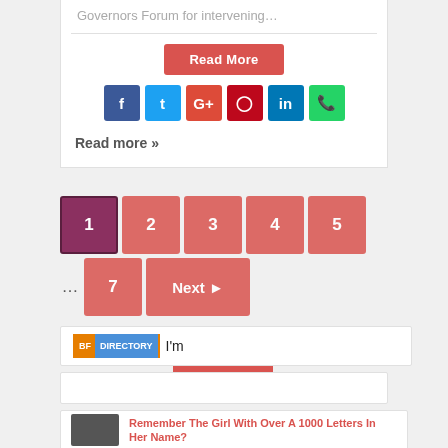Governors Forum for intervening…
Read More
Social share buttons: Facebook, Twitter, Google+, Pinterest, LinkedIn, WhatsApp
Read more »
Pagination: 1 2 3 4 5 … 7 Next Last
BF DIRECTORY I'm
Remember The Girl With Over A 1000 Letters In Her Name?